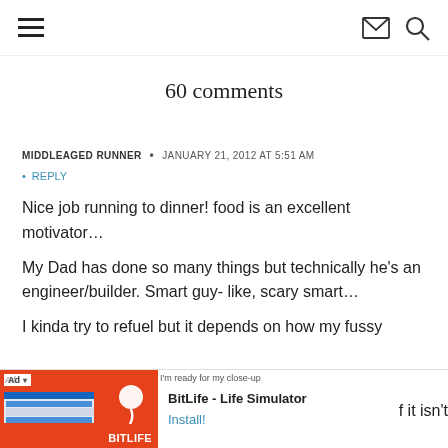Navigation bar with hamburger menu, mail icon, and search icon
60 comments
MIDDLEAGEDRUNNER · JANUARY 21, 2012 AT 5:51 AM
REPLY
Nice job running to dinner! food is an excellent motivator…
My Dad has done so many things but technically he's an engineer/builder. Smart guy- like, scary smart…
I kinda try to refuel but it depends on how my fussy
[Figure (screenshot): BitLife - Life Simulator advertisement banner at bottom of page with red background, app screenshot mockup, sperm logo, and Install! button]